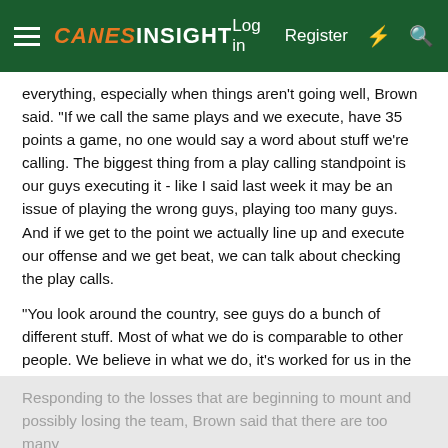CanesInsight — Log in  Register
everything, especially when things aren't going well, Brown said. "If we call the same plays and we execute, have 35 points a game, no one would say a word about stuff we're calling. The biggest thing from a play calling standpoint is our guys executing it - like I said last week it may be an issue of playing the wrong guys, playing too many guys. And if we get to the point we actually line up and execute our offense and we get beat, we can talk about checking the play calls.
"You look around the country, see guys do a bunch of different stuff. Most of what we do is comparable to other people. We believe in what we do, it's worked for us in the past, worked for us here at Miami already this season. If we coach our guys up and execute it, we'll be fine."
Responding to the losses that are beginning to mount and possibly losing the team, Brown said that there are too many